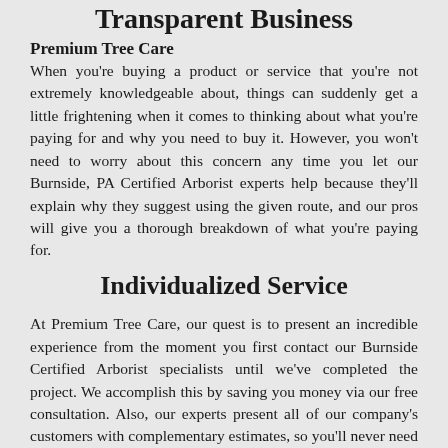Transparent Business
Premium Tree Care
When you're buying a product or service that you're not extremely knowledgeable about, things can suddenly get a little frightening when it comes to thinking about what you're paying for and why you need to buy it. However, you won't need to worry about this concern any time you let our Burnside, PA Certified Arborist experts help because they'll explain why they suggest using the given route, and our pros will give you a thorough breakdown of what you're paying for.
Individualized Service
At Premium Tree Care, our quest is to present an incredible experience from the moment you first contact our Burnside Certified Arborist specialists until we've completed the project. We accomplish this by saving you money via our free consultation. Also, our experts present all of our company's customers with complementary estimates, so you'll never need to stress about committing to our company before knowing what you'll spend.
Terrific Follow-Up